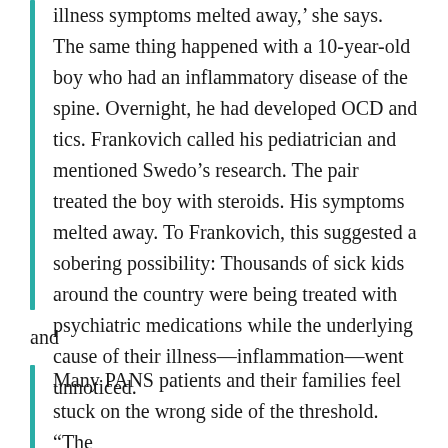illness symptoms melted away,' she says. The same thing happened with a 10-year-old boy who had an inflammatory disease of the spine. Overnight, he had developed OCD and tics. Frankovich called his pediatrician and mentioned Swedo's research. The pair treated the boy with steroids. His symptoms melted away. To Frankovich, this suggested a sobering possibility: Thousands of sick kids around the country were being treated with psychiatric medications while the underlying cause of their illness—inflammation—went unnoticed.
and
Many PANS patients and their families feel stuck on the wrong side of the threshold. "The